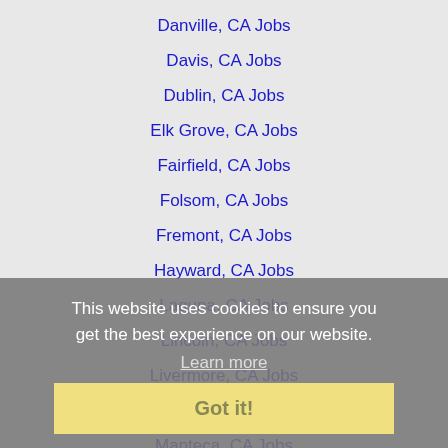Danville, CA Jobs
Davis, CA Jobs
Dublin, CA Jobs
Elk Grove, CA Jobs
Fairfield, CA Jobs
Folsom, CA Jobs
Fremont, CA Jobs
Hayward, CA Jobs
Laguna, CA Jobs
Lincoln, CA Jobs
Livermore, CA Jobs
Lodi, CA Jobs
Manteca, CA Jobs
Milpitas, CA Jobs
Modesto, CA Jobs
Napa, CA Jobs
Newark, CA Jobs
North Highlands, CA Jobs
This website uses cookies to ensure you get the best experience on our website. Learn more Got it!